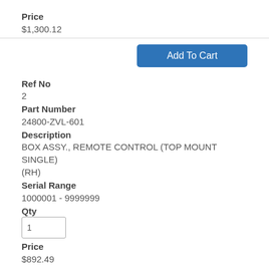Price
$1,300.12
Add To Cart
Ref No
2
Part Number
24800-ZVL-601
Description
BOX ASSY., REMOTE CONTROL (TOP MOUNT SINGLE) (RH)
Serial Range
1000001 - 9999999
Qty
1
Price
$892.49
Add To Cart